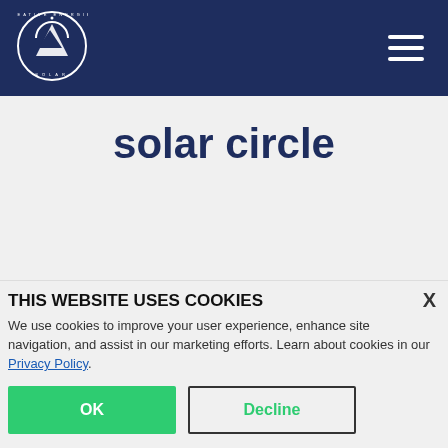[Figure (logo): Creative Energies Solar circular logo in white on dark navy background]
solar circle
THIS WEBSITE USES COOKIES
We use cookies to improve your user experience, enhance site navigation, and assist in our marketing efforts. Learn about cookies in our Privacy Policy.
OK
Decline